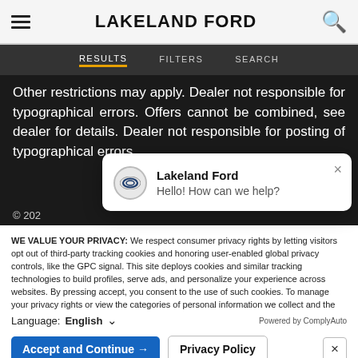LAKELAND FORD
RESULTS   FILTERS   SEARCH
Other restrictions may apply. Dealer not responsible for typographical errors. Offers cannot be combined, see dealer for details. Dealer not responsible for posting of typographical errors.
© 202
[Figure (screenshot): Chat popup from Lakeland Ford: Ford oval logo, 'Lakeland Ford', 'Hello! How can we help?', with a close (×) button.]
WE VALUE YOUR PRIVACY: We respect consumer privacy rights by letting visitors opt out of third-party tracking cookies and honoring user-enabled global privacy controls, like the GPC signal. This site deploys cookies and similar tracking technologies to build profiles, serve ads, and personalize your experience across websites. By pressing accept, you consent to the use of such cookies. To manage your privacy rights or view the categories of personal information we collect and the purposes for which the information is used, click here.
Language:  English  ∨   Powered by ComplyAuto
Accept and Continue →   Privacy Policy   ×